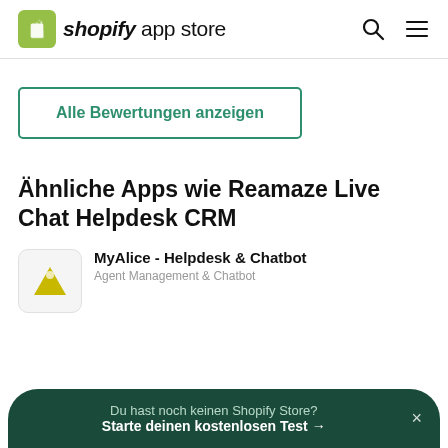shopify app store
Alle Bewertungen anzeigen
Ähnliche Apps wie Reamaze Live Chat Helpdesk CRM
MyAlice - Helpdesk & Chatbot
Agent Management & Chatbot
Du hast noch keinen Shopify Store? Starte deinen kostenlosen Test →